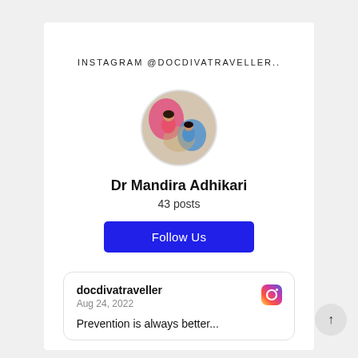INSTAGRAM @DOCDIVATRAVELLER..
[Figure (photo): Circular profile photo of Dr Mandira Adhikari showing two people]
Dr Mandira Adhikari
43 posts
Follow Us
docdivatraveller
Aug 24, 2022

Prevention is always better...